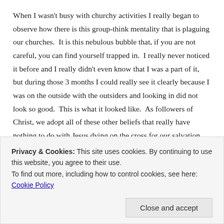When I wasn't busy with churchy activities I really began to observe how there is this group-think mentality that is plaguing our churches.  It is this nebulous bubble that, if you are not careful, you can find yourself trapped in.  I really never noticed it before and I really didn't even know that I was a part of it, but during those 3 months I could really see it clearly because I was on the outside with the outsiders and looking in did not look so good.  This is what it looked like.  As followers of Christ, we adopt all of these other beliefs that really have nothing to do with Jesus dying on the cross for our salvation.  These beliefs might have more to do with politics or cultural preferences.
Privacy & Cookies: This site uses cookies. By continuing to use this website, you agree to their use.
To find out more, including how to control cookies, see here: Cookie Policy
Close and accept
agree on just about everything from dress code to